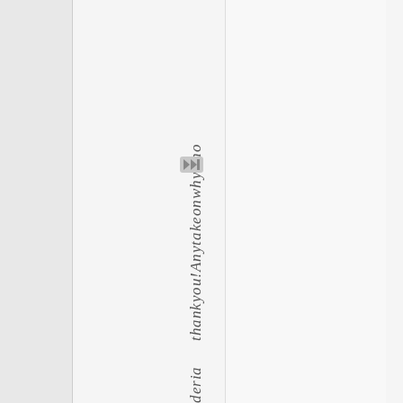deria thank you! AnytakeonwhyKno